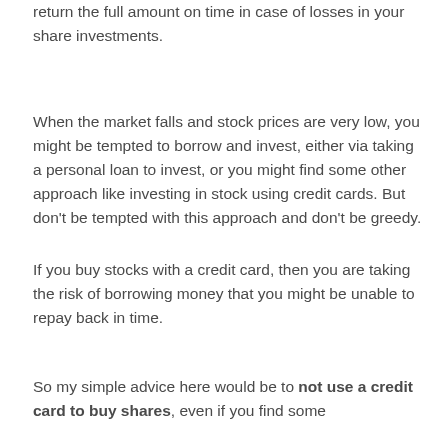return the full amount on time in case of losses in your share investments.
When the market falls and stock prices are very low, you might be tempted to borrow and invest, either via taking a personal loan to invest, or you might find some other approach like investing in stock using credit cards. But don't be tempted with this approach and don't be greedy.
If you buy stocks with a credit card, then you are taking the risk of borrowing money that you might be unable to repay back in time.
So my simple advice here would be to not use a credit card to buy shares, even if you find some